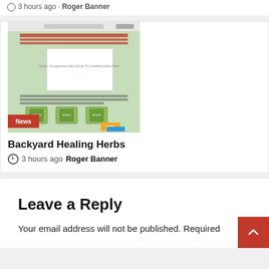3 hours ago · Roger Banner
[Figure (screenshot): Screenshot of a webpage for 'Backyard Healing Herbs' product with green background and book covers, showing a $39 price and a 'News' badge overlay]
Backyard Healing Herbs
3 hours ago  Roger Banner
Leave a Reply
Your email address will not be published. Required